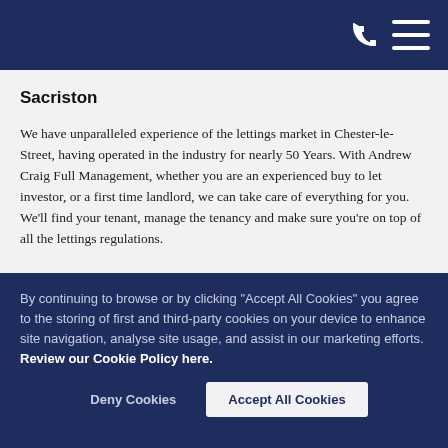[Phone icon] [Menu icon]
Sacriston
We have unparalleled experience of the lettings market in Chester-le-Street, having operated in the industry for nearly 50 Years. With Andrew Craig Full Management, whether you are an experienced buy to let investor, or a first time landlord, we can take care of everything for you. We’ll find your tenant, manage the tenancy and make sure you’re on top of all the lettings regulations.
By continuing to browse or by clicking “Accept All Cookies” you agree to the storing of first and third-party cookies on your device to enhance site navigation, analyse site usage, and assist in our marketing efforts.  Review our Cookie Policy here.
Deny Cookies
Accept All Cookies